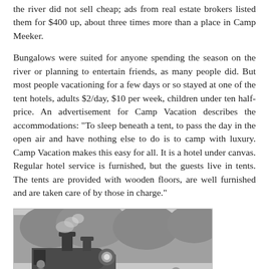the river did not sell cheap; ads from real estate brokers listed them for $400 up, about three times more than a place in Camp Meeker.
Bungalows were suited for anyone spending the season on the river or planning to entertain friends, as many people did. But most people vacationing for a few days or so stayed at one of the tent hotels, adults $2/day, $10 per week, children under ten half-price. An advertisement for Camp Vacation describes the accommodations: "To sleep beneath a tent, to pass the day in the open air and have nothing else to do is to camp with luxury. Camp Vacation makes this easy for all. It is a hotel under canvas. Regular hotel service is furnished, but the guests live in tents. The tents are provided with wooden floors, are well furnished and are taken care of by those in charge."
[Figure (photo): Black and white historical photograph of a small steam locomotive with figures visible near it, including a person in the cab and another standing nearby.]